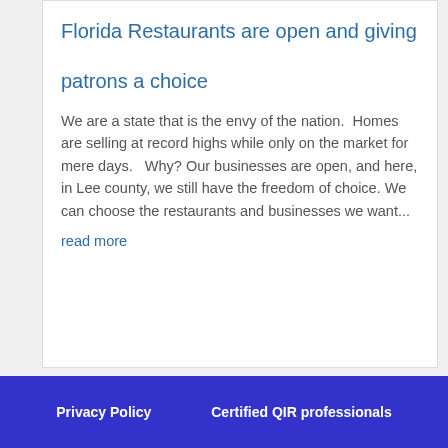Florida Restaurants are open and giving patrons a choice
We are a state that is the envy of the nation.  Homes are selling at record highs while only on the market for mere days.   Why? Our businesses are open, and here, in Lee county, we still have the freedom of choice. We can choose the restaurants and businesses we want...
read more
Privacy Policy   Certified QIR professionals